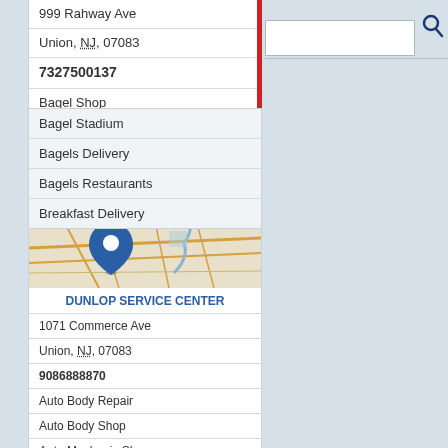999 Rahway Ave
Union, NJ, 07083
7327500137
Bagel Shop
Bagel Stadium
Bagels Delivery
Bagels Restaurants
Breakfast Delivery
[Figure (map): Street map showing location pin for Dunlop Service Center in Union, NJ area]
DUNLOP SERVICE CENTER
1071 Commerce Ave
Union, NJ, 07083
9086888870
Auto Body Repair
Auto Body Shop
Auto Mechanic Shop
Auto Repair & Service
Auto Repair Service